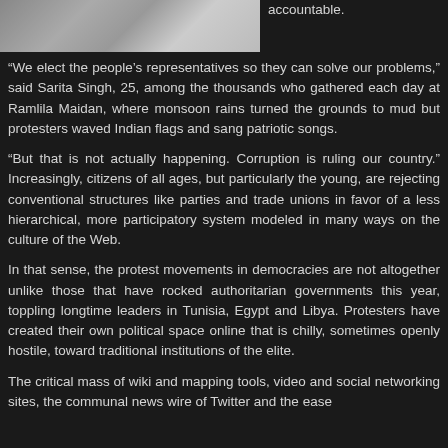[Figure (photo): Partial photo of people, cropped at top of page, left side]
accountable.
“We elect the people’s representatives so they can solve our problems,” said Sarita Singh, 25, among the thousands who gathered each day at Ramlila Maidan, where monsoon rains turned the grounds to mud but protesters waved Indian flags and sang patriotic songs.
“But that is not actually happening. Corruption is ruling our country.” Increasingly, citizens of all ages, but particularly the young, are rejecting conventional structures like parties and trade unions in favor of a less hierarchical, more participatory system modeled in many ways on the culture of the Web.
In that sense, the protest movements in democracies are not altogether unlike those that have rocked authoritarian governments this year, toppling longtime leaders in Tunisia, Egypt and Libya. Protesters have created their own political space online that is chilly, sometimes openly hostile, toward traditional institutions of the elite.
The critical mass of wiki and mapping tools, video and social networking sites, the communal news wire of Twitter and the ease